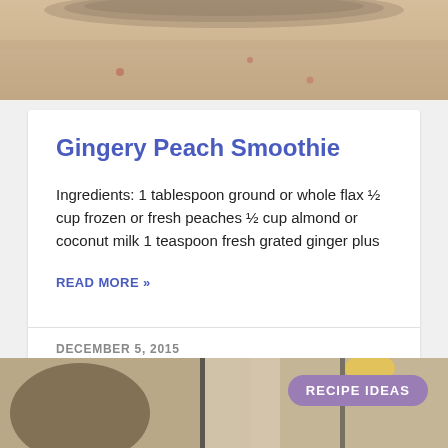[Figure (photo): Top portion of a smoothie drink in a glass, cropped]
Gingery Peach Smoothie
Ingredients: 1 tablespoon ground or whole flax ½ cup frozen or fresh peaches ½ cup almond or coconut milk 1 teaspoon fresh grated ginger plus
READ MORE »
DECEMBER 5, 2015
[Figure (photo): Bottom photo showing smoothie drinks with coconut and garnishes, with a purple RECIPE IDEAS badge]